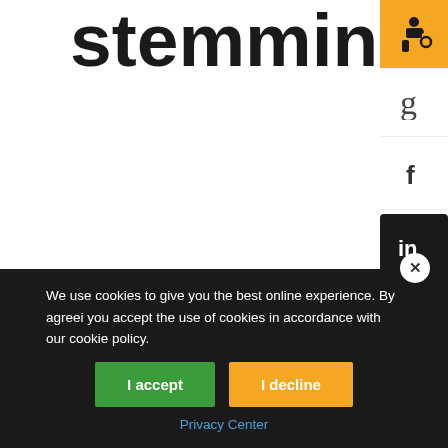stemming from DG?
*D,G had the pleasure of sending Kim and her family to a Saturday Bruins game. Not only was she appreciative but it was also her daughter's first game ever!*
We use cookies to give you the best online experience. By agreeing you accept the use of cookies in accordance with our cookie policy.